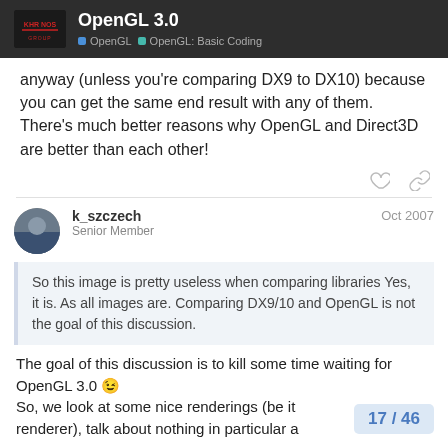OpenGL 3.0 | OpenGL | OpenGL: Basic Coding
anyway (unless you're comparing DX9 to DX10) because you can get the same end result with any of them. There's much better reasons why OpenGL and Direct3D are better than each other!
k_szczech  Senior Member  Oct 2007
So this image is pretty useless when comparing libraries Yes, it is. As all images are. Comparing DX9/10 and OpenGL is not the goal of this discussion.
The goal of this discussion is to kill some time waiting for OpenGL 3.0 😉
So, we look at some nice renderings (be it renderer), talk about nothing in particular a
17 / 46